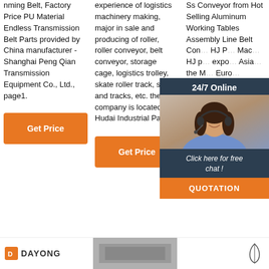nming Belt, Factory Price PU Material Endless Transmission Belt Parts provided by China manufacturer - Shanghai Peng Qian Transmission Equipment Co., Ltd., page1.
experience of logistics machinery making, major in sale and producing of roller, roller conveyor, belt conveyor, storage cage, logistics trolley, skate roller track, shelf and tracks, etc. the company is located in Hudai Industrial Park ...
Ss Conveyor from Hot Selling Aluminum Working Tables Assembly Line Belt Conveyor HJ Packing Machine HJ products are exported to Asia, the Middle Euro... popular
Get Price
Get Price
Get Price
24/7 Online
Click here for free chat !
QUOTATION
[Figure (photo): Customer service representative - woman with headset smiling]
TOP
[Figure (logo): DAYONG logo with orange icon]
[Figure (photo): Gray product/industrial image in footer]